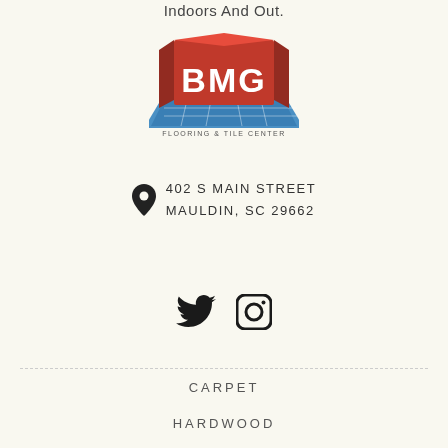Indoors And Out.
[Figure (logo): BMG Flooring & Tile Center logo — red 3D block letters B, M, G on blue tile grid base]
402 S MAIN STREET
MAULDIN, SC 29662
[Figure (other): Twitter bird icon and Instagram camera icon — social media icons]
CARPET
HARDWOOD